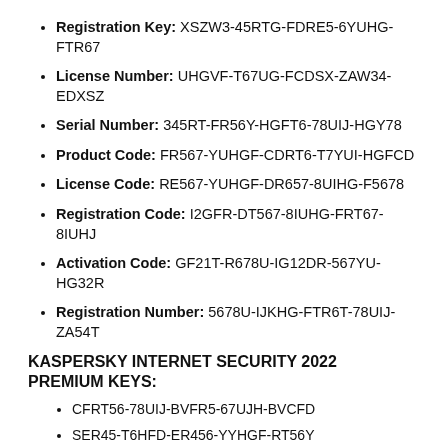Registration Key: XSZW3-45RTG-FDRE5-6YUHG-FTR67
License Number: UHGVF-T67UG-FCDSX-ZAW34-EDXSZ
Serial Number: 345RT-FR56Y-HGFT6-78UIJ-HGY78
Product Code: FR567-YUHGF-CDRT6-T7YUI-HGFCD
License Code: RE567-YUHGF-DR657-8UIHG-F5678
Registration Code: I2GFR-DT567-8IUHG-FRT67-8IUHJ
Activation Code: GF21T-R678U-IG12DR-567YU-HG32R
Registration Number: 5678U-IJKHG-FTR6T-78UIJ-ZA54T
KASPERSKY INTERNET SECURITY 2022 PREMIUM KEYS:
CFRT56-78UIJ-BVFR5-67UJH-BVCFD
SER45-T6HFD-ER456-YYHGF-RT56Y